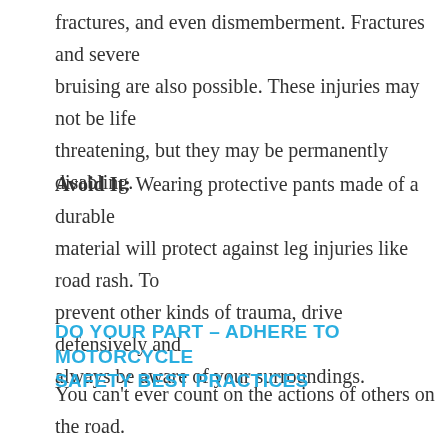fractures, and even dismemberment. Fractures and severe bruising are also possible. These injuries may not be life threatening, but they may be permanently disabling.
Avoid It: Wearing protective pants made of a durable material will protect against leg injuries like road rash. To prevent other kinds of trauma, drive defensively and always be aware of your surroundings.
DO YOUR PART – ADHERE TO MOTORCYCLE SAFETY BEST PRACTICES
You can't ever count on the actions of others on the road. Do your part to prevent motorcycle injuries by wearing a helmet and protective clothing. Also, take extra care